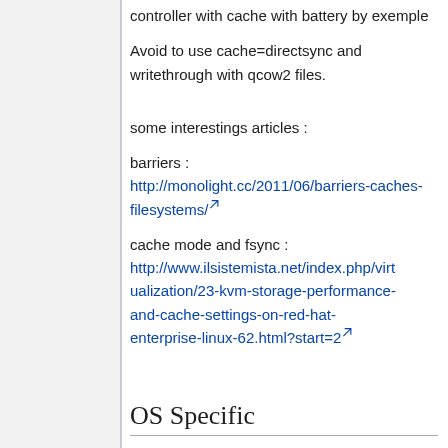controller with cache with battery by exemple
Avoid to use cache=directsync and writethrough with qcow2 files.
some interestings articles :
barriers :
http://monolight.cc/2011/06/barriers-caches-filesystems/
cache mode and fsync :
http://www.ilsistemista.net/index.php/virtualization/23-kvm-storage-performance-and-cache-settings-on-red-hat-enterprise-linux-62.html?start=2
OS Specific